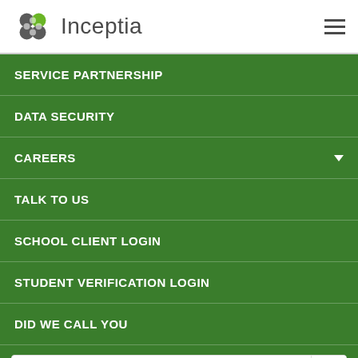[Figure (logo): Inceptia logo with flower/leaf icon and text 'Inceptia']
SERVICE PARTNERSHIP
DATA SECURITY
CAREERS
TALK TO US
SCHOOL CLIENT LOGIN
STUDENT VERIFICATION LOGIN
DID WE CALL YOU
Search
[Figure (logo): Inceptia footer logo with flower/leaf icon and partial text 'Inceptia']